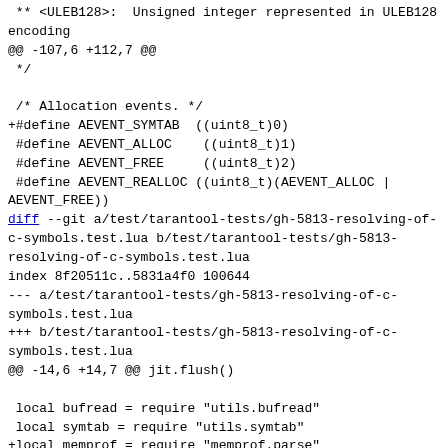** <ULEB128>:  Unsigned integer represented in ULEB128 encoding
@@ -107,6 +112,7 @@
 */

 /* Allocation events. */
+#define AEVENT_SYMTAB  ((uint8_t)0)
 #define AEVENT_ALLOC    ((uint8_t)1)
 #define AEVENT_FREE     ((uint8_t)2)
 #define AEVENT_REALLOC ((uint8_t)(AEVENT_ALLOC | AEVENT_FREE))
diff --git a/test/tarantool-tests/gh-5813-resolving-of-c-symbols.test.lua b/test/tarantool-tests/gh-5813-resolving-of-c-symbols.test.lua
index 8f20511c..5831a4f0 100644
--- a/test/tarantool-tests/gh-5813-resolving-of-c-symbols.test.lua
+++ b/test/tarantool-tests/gh-5813-resolving-of-c-symbols.test.lua
@@ -14,6 +14,7 @@ jit.flush()

  local bufread = require "utils.bufread"
  local symtab = require "utils.symtab"
+local memprof = require "memprof.parse"

  local TMP_BINFILE =
arg[0]:gsub(".+/([^/]+)%.test%.lua$",
"%.%1.memprofdata.tmp.bin")

@@ -30,25 +31,23 @@ end